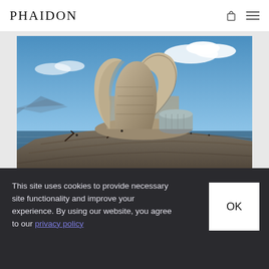PHAIDON
[Figure (photo): Architectural rendering of a futuristic curved stone-like building structure rising from rocky coastal terrain surrounded by ocean water, with a blue sky and clouds in the background.]
This site uses cookies to provide necessary site functionality and improve your experience. By using our website, you agree to our privacy policy